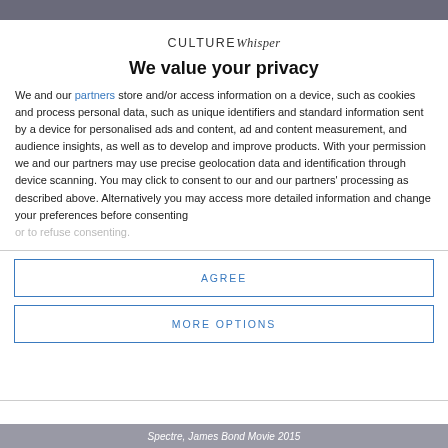[Figure (screenshot): Top partial image strip, dark grey/blue background, partially visible photo]
CULTUREWhisper
We value your privacy
We and our partners store and/or access information on a device, such as cookies and process personal data, such as unique identifiers and standard information sent by a device for personalised ads and content, ad and content measurement, and audience insights, as well as to develop and improve products. With your permission we and our partners may use precise geolocation data and identification through device scanning. You may click to consent to our and our partners' processing as described above. Alternatively you may access more detailed information and change your preferences before consenting or to refuse consenting.
AGREE
MORE OPTIONS
Spectre, James Bond Movie 2015